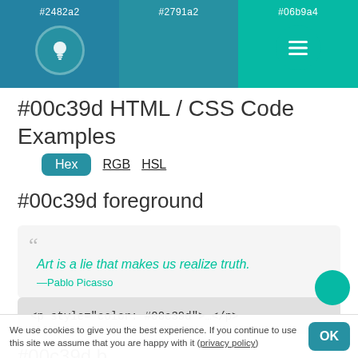#2482a2  #2791a2  #06b9a4
#00c39d HTML / CSS Code Examples
Hex  RGB  HSL
#00c39d foreground
“ Art is a lie that makes us realize truth. —Pablo Picasso
<p style="color: #00c39d">…</p>
#00c39d b...
We use cookies to give you the best experience. If you continue to use this site we assume that you are happy with it (privacy policy)  OK